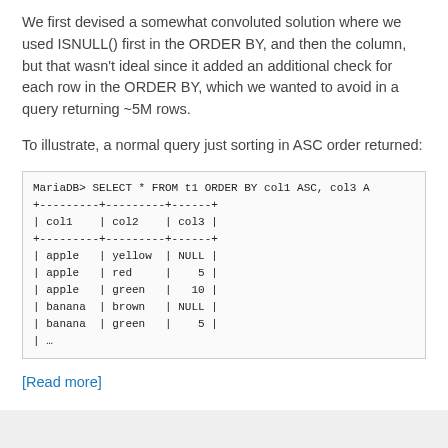We first devised a somewhat convoluted solution where we used ISNULL() first in the ORDER BY, and then the column, but that wasn't ideal since it added an additional check for each row in the ORDER BY, which we wanted to avoid in a query returning ~5M rows.
To illustrate, a normal query just sorting in ASC order returned:
[Figure (screenshot): MariaDB terminal output showing SELECT * FROM t1 ORDER BY col1 ASC, col3 A... with a table showing col1, col2, col3 columns. Rows: apple/yellow/NULL, apple/red/5, apple/green/10, banana/brown/NULL, banana/green/5, ...]
[Read more]